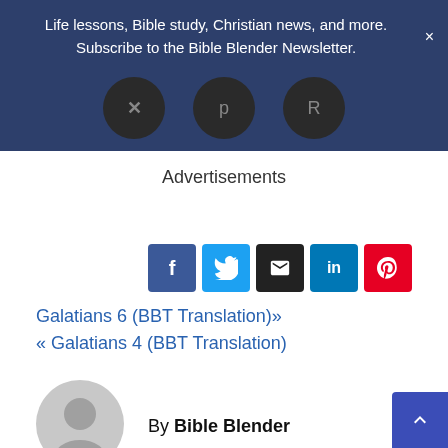Life lessons, Bible study, Christian news, and more. Subscribe to the Bible Blender Newsletter.
[Figure (screenshot): Three dark circular social/navigation icons partially visible]
Advertisements
[Figure (screenshot): Social share buttons: Facebook, Twitter, Email, LinkedIn, Pinterest]
Galatians 6 (BBT Translation)»
« Galatians 4 (BBT Translation)
By Bible Blender
[Figure (illustration): Generic user avatar placeholder in grey]